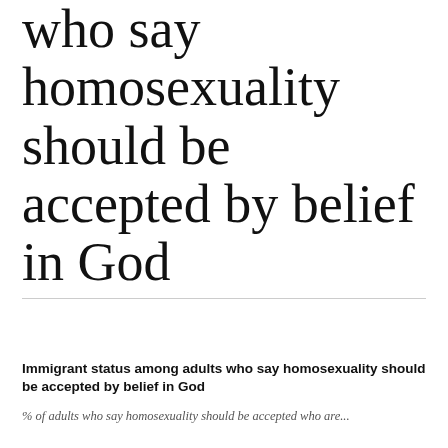who say homosexuality should be accepted by belief in God
Chart  Table  Share
Immigrant status among adults who say homosexuality should be accepted by belief in God
% of adults who say homosexuality should be accepted who are...